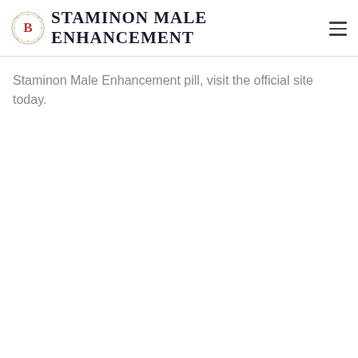STAMINON MALE ENHANCEMENT
Staminon Male Enhancement pill, visit the official site today.